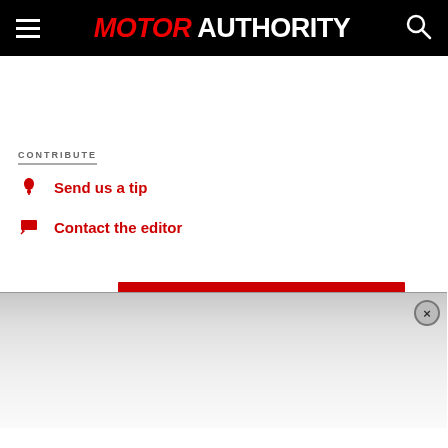MOTOR AUTHORITY
CONTRIBUTE
Send us a tip
Contact the editor
[Figure (screenshot): Modal overlay with red bar and close button (×)]